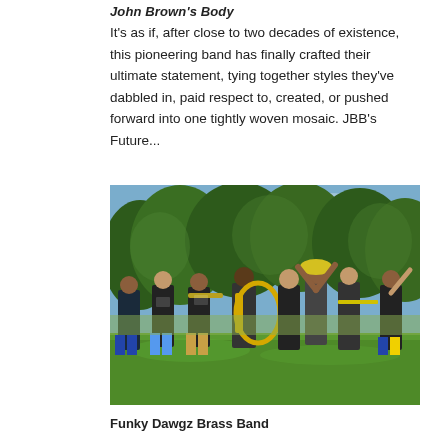John Brown's Body
It's as if, after close to two decades of existence, this pioneering band has finally crafted their ultimate statement, tying together styles they've dabbled in, paid respect to, created, or pushed forward into one tightly woven mosaic. JBB's Future...
[Figure (photo): Outdoor photo of a brass band performing on a green lawn with trees in the background. Multiple musicians in matching dark t-shirts playing trombones, saxophones, and a sousaphone, celebrating with raised arms.]
Funky Dawgz Brass Band